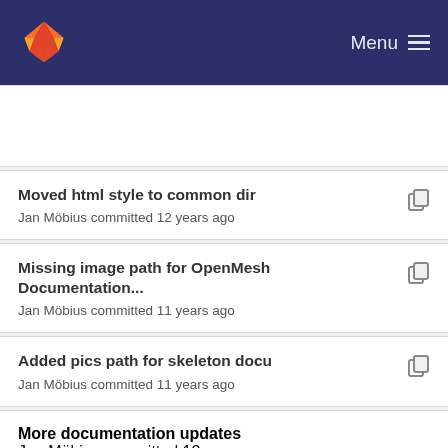Menu
Moved html style to common dir
Jan Möbius committed 12 years ago
Missing image path for OpenMesh Documentation...
Jan Möbius committed 11 years ago
Added pics path for skeleton docu
Jan Möbius committed 11 years ago
More documentation updates
Jan Möbius committed 12 years ago